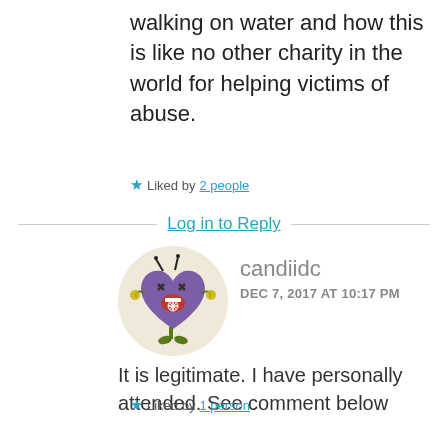walking on water and how this is like no other charity in the world for helping victims of abuse.
★ Liked by 2 people
Log in to Reply
[Figure (illustration): Cartoon avatar of a purple heart-shaped character with antennae, X eyes, open red mouth, yellow hands, and green feet, inside a beige circle]
candiidc
DEC 7, 2017 AT 10:17 PM
It is legitimate. I have personally attended. See comment below
★ Liked by 1 person